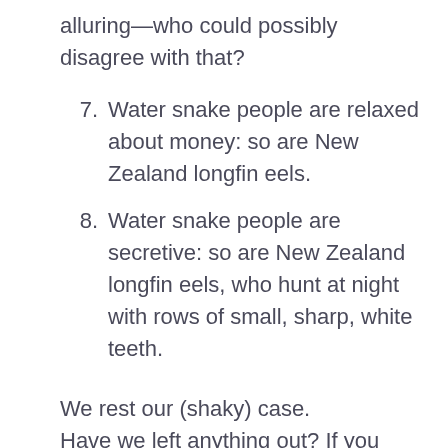alluring—who could possibly disagree with that?
7. Water snake people are relaxed about money: so are New Zealand longfin eels.
8. Water snake people are secretive: so are New Zealand longfin eels, who hunt at night with rows of small, sharp, white teeth.
We rest our (shaky) case.
Have we left anything out? If you have any knowledge of Chinese astrology, please help us complete the list.
We have no interest in claiming the yellow-bellied sea snakes that occasionally drift to New Zealand waters from warmer areas. They're all